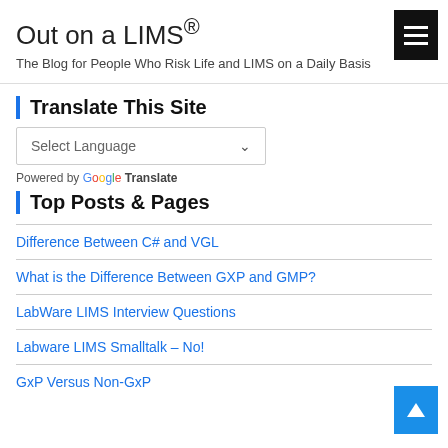Out on a LIMS®
The Blog for People Who Risk Life and LIMS on a Daily Basis
Translate This Site
Select Language
Powered by Google Translate
Top Posts & Pages
Difference Between C# and VGL
What is the Difference Between GXP and GMP?
LabWare LIMS Interview Questions
Labware LIMS Smalltalk – No!
GxP Versus Non-GxP